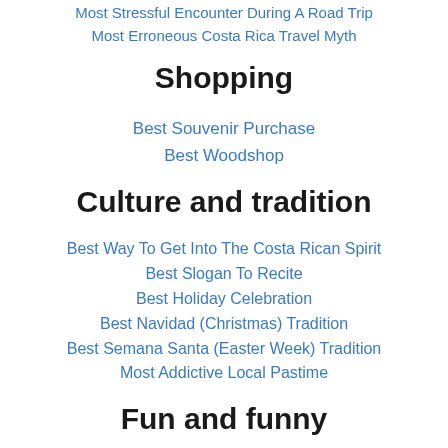Most Stressful Encounter During A Road Trip
Most Erroneous Costa Rica Travel Myth
Shopping
Best Souvenir Purchase
Best Woodshop
Culture and tradition
Best Way To Get Into The Costa Rican Spirit
Best Slogan To Recite
Best Holiday Celebration
Best Navidad (Christmas) Tradition
Best Semana Santa (Easter Week) Tradition
Most Addictive Local Pastime
Fun and funny
Best Donation Item To Bring From Home
Best Use Of An Extra Two Dollars In Your Pocket
Best Opportunity To Take A Selfie